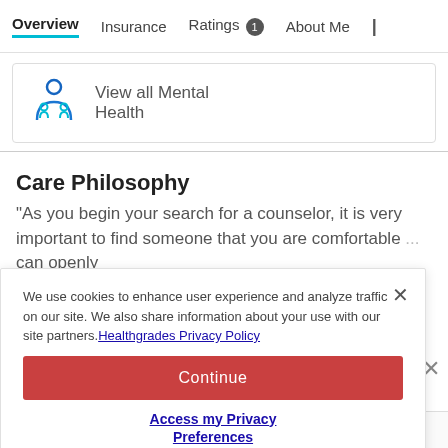Overview | Insurance | Ratings 1 | About Me |
[Figure (illustration): Mental health icon: stylized person with arc/circle above and two small figures below, in blue outline]
View all Mental Health
Care Philosophy
"As you begin your search for a counselor, it is very important to find someone that you are comfortable with, someone that you can openly ... a rapport
We use cookies to enhance user experience and analyze traffic on our site. We also share information about your use with our site partners. Healthgrades Privacy Policy
Continue
Access my Privacy Preferences
Offers Telehealth